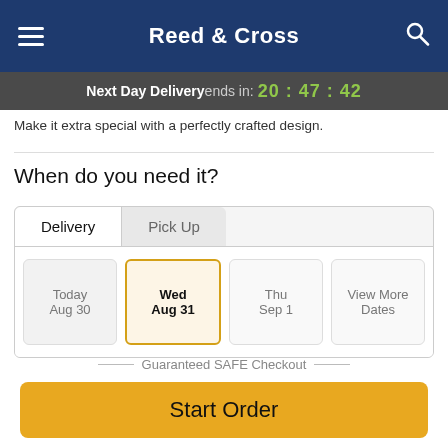Reed & Cross
Next Day Delivery ends in: 20:47:42
Make it extra special with a perfectly crafted design.
When do you need it?
Delivery | Pick Up
Today Aug 30 | Wed Aug 31 | Thu Sep 1 | View More Dates
Guaranteed SAFE Checkout
Start Order